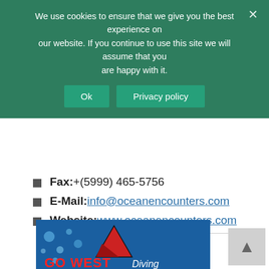We use cookies to ensure that we give you the best experience on our website. If you continue to use this site we will assume that you are happy with it.
Fax: +(5999) 465-5756
E-Mail: info@oceanencounters.com
Website: www.oceanencounters.com
Go West Diving
[Figure (logo): Go West Diving logo with shark fin and bubbles on dark blue background]